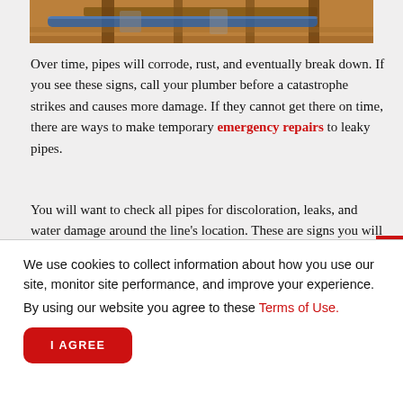[Figure (photo): Partial view of pipes and wooden beams, a construction/plumbing scene photographed from below]
Over time, pipes will corrode, rust, and eventually break down. If you see these signs, call your plumber before a catastrophe strikes and causes more damage. If they cannot get there on time, there are ways to make temporary emergency repairs to leaky pipes.
You will want to check all pipes for discoloration, leaks, and water damage around the line's location. These are signs you will need dig a little deeper and see if there is corrosion or if they are not sealed properly. If you identify any of these signs, you may not need a complete plumbing overhaul just yet; sometimes, all you need to do is re-tighten the connection. If there is significant leakage, it may be time to upgrade.
We use cookies to collect information about how you use our site, monitor site performance, and improve your experience. By using our website you agree to these Terms of Use.